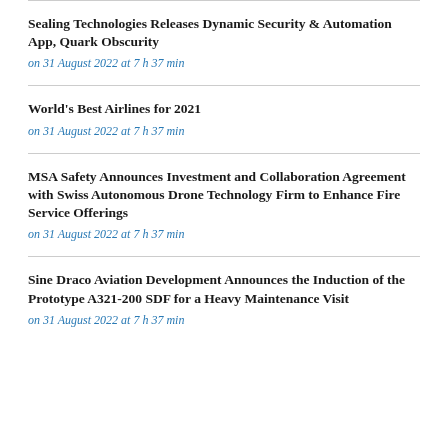Sealing Technologies Releases Dynamic Security & Automation App, Quark Obscurity
on 31 August 2022 at 7 h 37 min
World's Best Airlines for 2021
on 31 August 2022 at 7 h 37 min
MSA Safety Announces Investment and Collaboration Agreement with Swiss Autonomous Drone Technology Firm to Enhance Fire Service Offerings
on 31 August 2022 at 7 h 37 min
Sine Draco Aviation Development Announces the Induction of the Prototype A321-200 SDF for a Heavy Maintenance Visit
on 31 August 2022 at 7 h 37 min